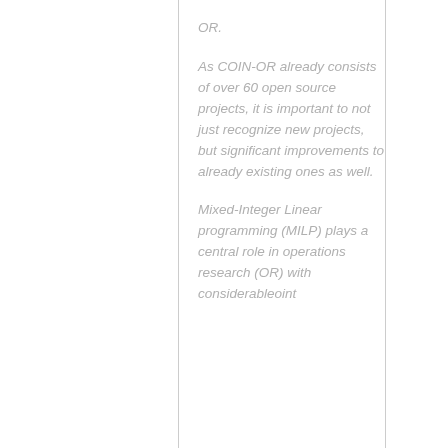OR.
As COIN-OR already consists of over 60 open source projects, it is important to not just recognize new projects, but significant improvements to already existing ones as well.
Mixed-Integer Linear programming (MILP) plays a central role in operations research (OR) with considerableoint